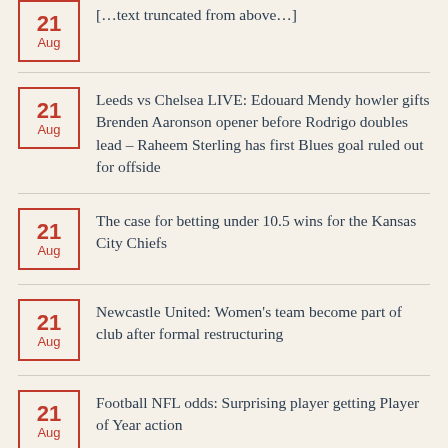21 Aug — [partial/truncated top item]
21 Aug — Leeds vs Chelsea LIVE: Edouard Mendy howler gifts Brenden Aaronson opener before Rodrigo doubles lead – Raheem Sterling has first Blues goal ruled out for offside
21 Aug — The case for betting under 10.5 wins for the Kansas City Chiefs
21 Aug — Newcastle United: Women's team become part of club after formal restructuring
21 Aug — Football NFL odds: Surprising player getting Player of Year action